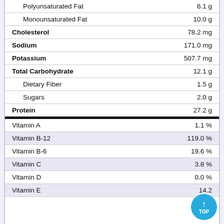| Nutrient | Amount |
| --- | --- |
| Polyunsaturated Fat | 6.1 g |
| Monounsaturated Fat | 10.0 g |
| Cholesterol | 78.2 mg |
| Sodium | 171.0 mg |
| Potassium | 507.7 mg |
| Total Carbohydrate | 12.1 g |
| Dietary Fiber | 1.5 g |
| Sugars | 2.0 g |
| Protein | 27.2 g |
| Vitamin A | 1.1 % |
| Vitamin B-12 | 119.0 % |
| Vitamin B-6 | 19.6 % |
| Vitamin C | 3.8 % |
| Vitamin D | 0.0 % |
| Vitamin E | 14.2 |